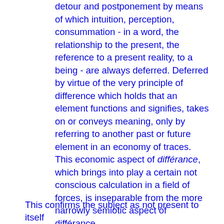detour and postponement by means of which intuition, perception, consummation - in a word, the relationship to the present, the reference to a present reality, to a being - are always deferred. Deferred by virtue of the very principle of difference which holds that an element functions and signifies, takes on or conveys meaning, only by referring to another past or future element in an economy of traces. This economic aspect of différance, which brings into play a certain not conscious calculation in a field of forces, is inseparable from the more narrowly semiotic aspect of différance.
This confirms the subject as not present to itself